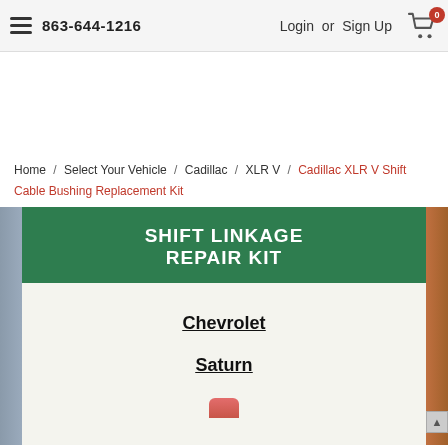863-644-1216   Login or Sign Up   [Cart: 0]
[Figure (other): Advertisement/banner whitespace area]
Home / Select Your Vehicle / Cadillac / XLR V / Cadillac XLR V Shift Cable Bushing Replacement Kit
[Figure (photo): Product image showing a Shift Linkage Repair Kit package with green top section labeled 'SHIFT LINKAGE REPAIR KIT' and white lower section listing Chevrolet and Saturn brands]